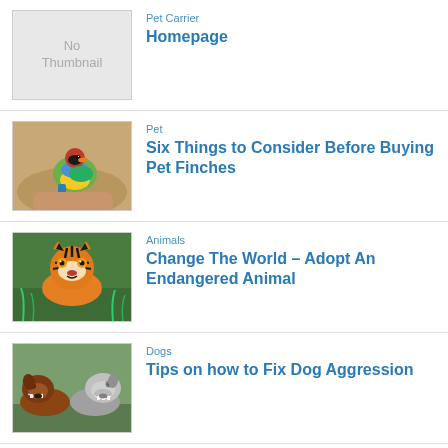[Figure (other): No Thumbnail placeholder image with gray background]
Pet Carrier
Homepage
[Figure (photo): A colorful Gouldian finch bird perched on a finger]
Pet
Six Things to Consider Before Buying Pet Finches
[Figure (photo): A tiger's face up close in green grass]
Animals
Change The World – Adopt An Endangered Animal
[Figure (photo): Two dogs in an aggressive confrontation]
Dogs
Tips on how to Fix Dog Aggression